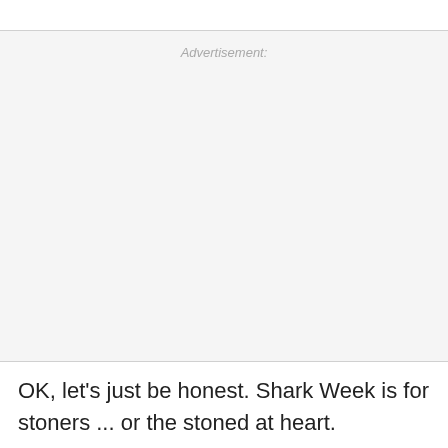[Figure (other): Advertisement placeholder area with light gray background and 'Advertisement:' label at top center]
OK, let's just be honest. Shark Week is for stoners ... or the stoned at heart.